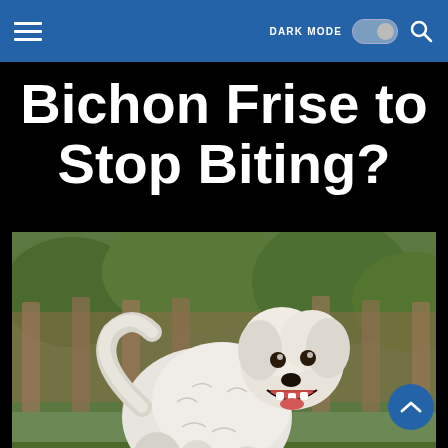DARK MODE [toggle] [search icon]
Bichon Frise to Stop Biting?
[Figure (photo): A white Bichon Frise dog standing and barking/biting with mouth open, photographed outdoors with green foliage and wooden fence in background]